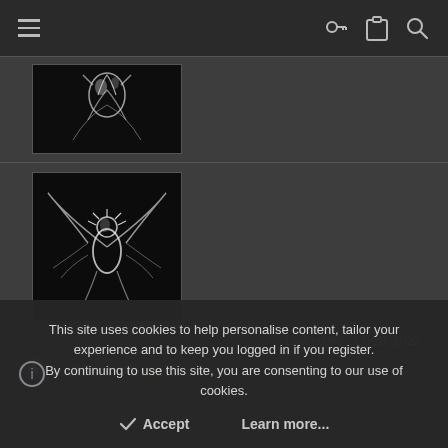Navigation bar with hamburger menu, key icon, clipboard icon, search icon
[Figure (photo): Black and white photo of a fantasy/miniature creature figure against black background (top, partially cropped)]
[Figure (photo): Black and white photo of a fantasy/miniature creature with wings and ornate details against black background]
Last edited: Jun 20, 2022
MedMos and Unas the slayer
This site uses cookies to help personalise content, tailor your experience and to keep you logged in if you register. By continuing to use this site, you are consenting to our use of cookies.
Accept
Learn more...